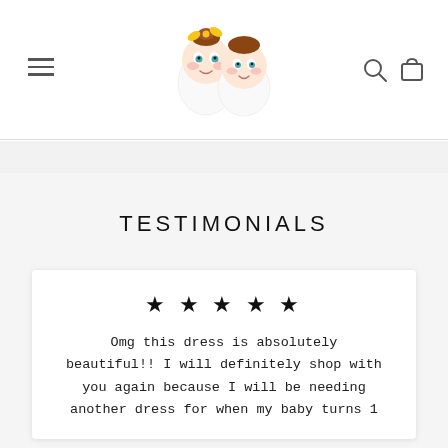[Figure (logo): Cartoon baby girl and baby boy illustration used as website logo]
TESTIMONIALS
★★★★★
Omg this dress is absolutely beautiful!! I will definitely shop with you again because I will be needing another dress for when my baby turns 1